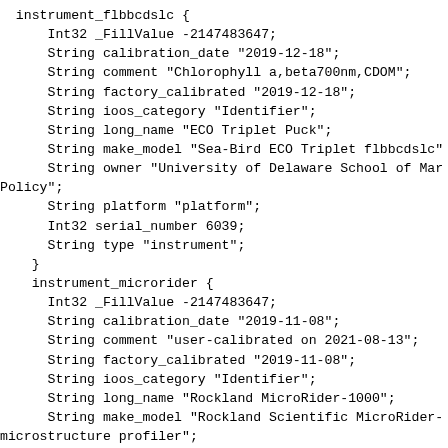instrument_flbbcdslc {
    Int32 _FillValue -2147483647;
    String calibration_date "2019-12-18";
    String comment "Chlorophyll a,beta700nm,CDOM";
    String factory_calibrated "2019-12-18";
    String ioos_category "Identifier";
    String long_name "ECO Triplet Puck";
    String make_model "Sea-Bird ECO Triplet flbbcdslc"
    String owner "University of Delaware School of Mar
Policy";
    String platform "platform";
    Int32 serial_number 6039;
    String type "instrument";
  }
  instrument_microrider {
    Int32 _FillValue -2147483647;
    String calibration_date "2019-11-08";
    String comment "user-calibrated on 2021-08-13";
    String factory_calibrated "2019-11-08";
    String ioos_category "Identifier";
    String long_name "Rockland MicroRider-1000";
    String make_model "Rockland Scientific MicroRider-
microstructure profiler";
    String owner "University of Delaware";
    String platform "platform";
    Int32 serial_number 339;